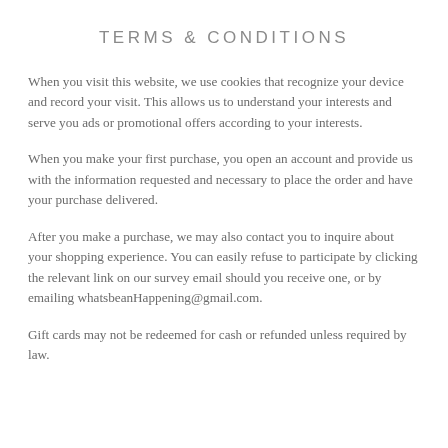TERMS & CONDITIONS
When you visit this website, we use cookies that recognize your device and record your visit. This allows us to understand your interests and serve you ads or promotional offers according to your interests.
When you make your first purchase, you open an account and provide us with the information requested and necessary to place the order and have your purchase delivered.
After you make a purchase, we may also contact you to inquire about your shopping experience. You can easily refuse to participate by clicking the relevant link on our survey email should you receive one, or by emailing whatsbeanHappening@gmail.com.
Gift cards may not be redeemed for cash or refunded unless required by law.